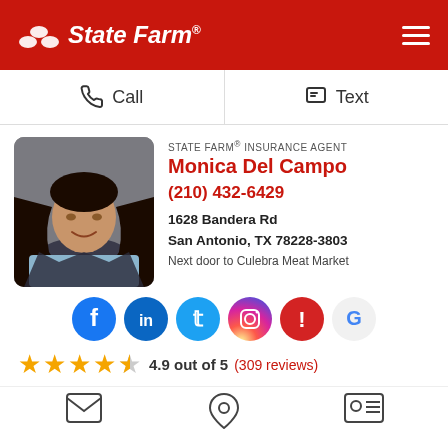State Farm®
Call   Text
[Figure (photo): Headshot of Monica Del Campo, a woman with long dark hair, smiling, against a gray background]
STATE FARM® INSURANCE AGENT
Monica Del Campo
(210) 432-6429
1628 Bandera Rd
San Antonio, TX 78228-3803
Next door to Culebra Meat Market
[Figure (infographic): Social media icons: Facebook, LinkedIn, Twitter, Instagram, Yelp, Google]
4.9 out of 5  (309 reviews)
[Figure (infographic): Bottom navigation icons: Contact Us (email), Location, Get ID Card]